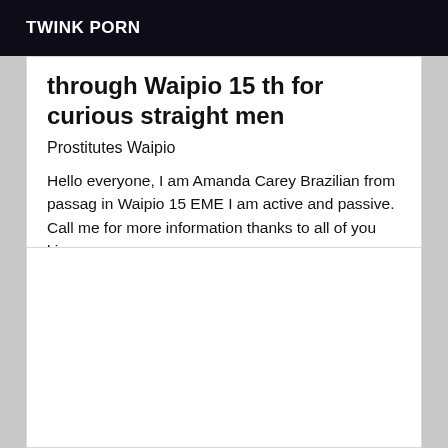TWINK PORN
through Waipio 15 th for curious straight men
Prostitutes Waipio
Hello everyone, I am Amanda Carey Brazilian from passag in Waipio 15 EME I am active and passive. Call me for more information thanks to all of you kisses.